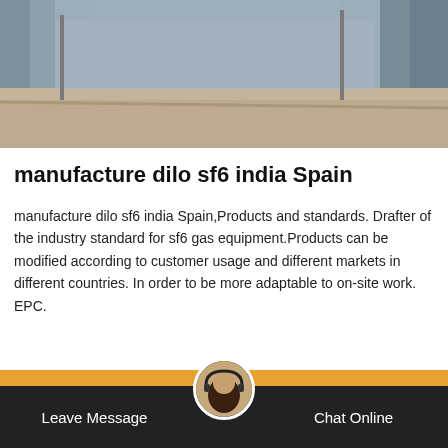[Figure (photo): Outdoor industrial/infrastructure area photo showing a road/pavement area with concrete walls and structures in the background, appearing to be an industrial facility exterior.]
manufacture dilo sf6 india Spain
manufacture dilo sf6 india Spain,Products and standards. Drafter of the industry standard for sf6 gas equipment.Products can be modified according to customer usage and different markets in different countries. In order to be more adaptable to on-site work. EPC.
Get Price
Leave Message   Chat Online